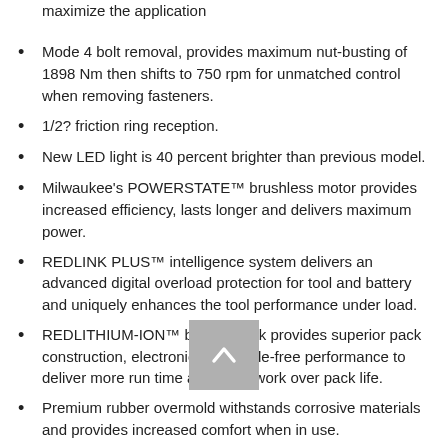maximize the application
Mode 4 bolt removal, provides maximum nut-busting of 1898 Nm then shifts to 750 rpm for unmatched control when removing fasteners.
1/2? friction ring reception.
New LED light is 40 percent brighter than previous model.
Milwaukee's POWERSTATE™ brushless motor provides increased efficiency, lasts longer and delivers maximum power.
REDLINK PLUS™ intelligence system delivers an advanced digital overload protection for tool and battery and uniquely enhances the tool performance under load.
REDLITHIUM-ION™ battery pack provides superior pack construction, electronics, and fade-free performance to deliver more run time and more work over pack life.
Premium rubber overmold withstands corrosive materials and provides increased comfort when in use.
Max Torque 1898Nm
Technical Specification
What's In the Box